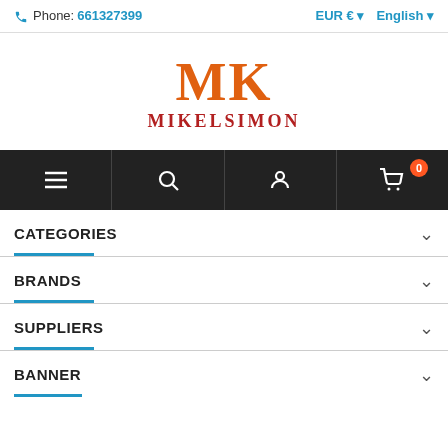Phone: 661327399  EUR €  English
[Figure (logo): MK MIKELSIMON logo with large orange MK letters and red MIKELSIMON text]
[Figure (infographic): Dark navigation bar with hamburger menu, search, user account, and shopping cart (0 items) icons]
CATEGORIES
BRANDS
SUPPLIERS
BANNER